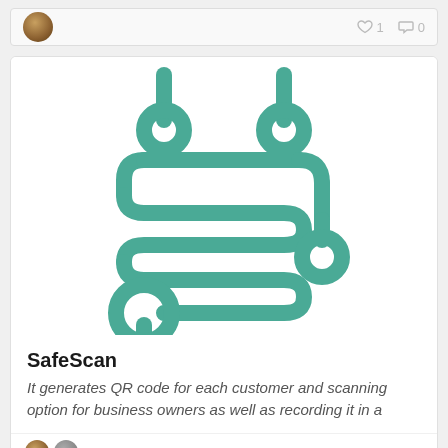[Figure (screenshot): Social platform post header with avatar icon on the left and like count (1) and comment count (0) on the right]
[Figure (logo): SafeScan app logo — a teal/green circuit-board style illustration with curved lines forming an S-shape pattern with circular endpoints, resembling a QR or scan motif]
SafeScan
It generates QR code for each customer and scanning option for business owners as well as recording it in a